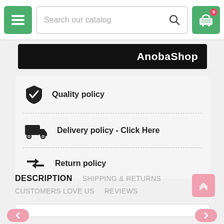Search our catalog
[Figure (logo): AnobaShop logo on black banner]
Quality policy
Delivery policy - Click Here
Return policy
DESCRIPTION   SHIPPING & RETURNS   CUSTOMERS LOVE US   REVIEWS